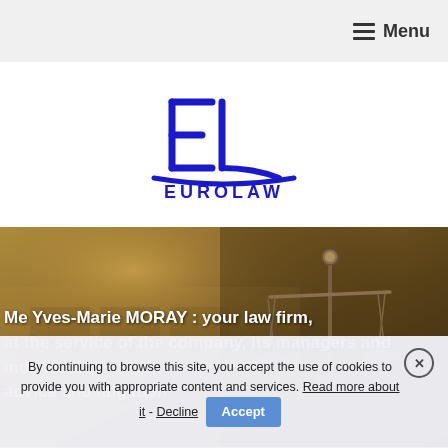Menu
[Figure (logo): Eurolaw logo with stylized EL letters in blue and text EUROLAW below]
[Figure (photo): Background hero image showing scales of justice (Lady Justice balance) in a blurred courtroom setting, warm golden-brown tones]
Me Yves-Marie MORAY : your law firm, at the service of the company, its managers and individuals : advice and litigation
By continuing to browse this site, you accept the use of cookies to provide you with appropriate content and services. Read more about it - Decline  Accept